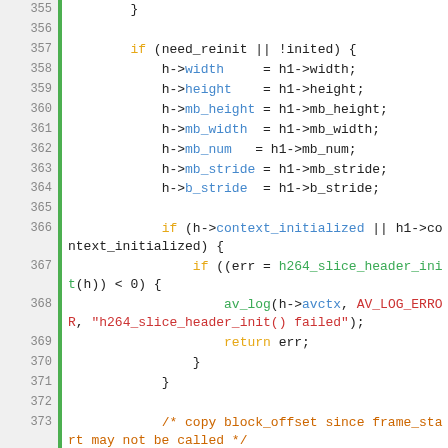[Figure (screenshot): Source code listing (C language) showing lines 355-379 of an H.264 decoder file. Lines involve reinit checks, field assignments for width/height/mb/stride, context_initialized check, h264_slice_header_init call, block_offset memcpy, and avctx coded_height/width/width assignments.]